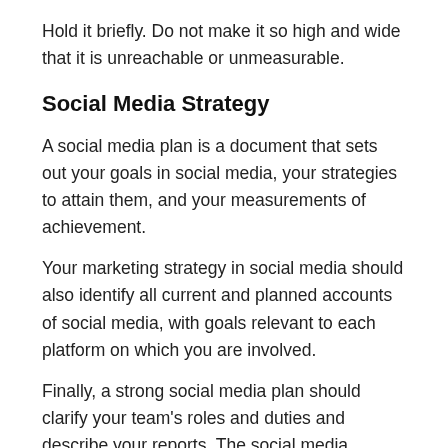Hold it briefly. Do not make it so high and wide that it is unreachable or unmeasurable.
Social Media Strategy
A social media plan is a document that sets out your goals in social media, your strategies to attain them, and your measurements of achievement.
Your marketing strategy in social media should also identify all current and planned accounts of social media, with goals relevant to each platform on which you are involved.
Finally, a strong social media plan should clarify your team's roles and duties and describe your reports. The social media campaign is one of the most popular social media services offered by marketing firms in UAE.